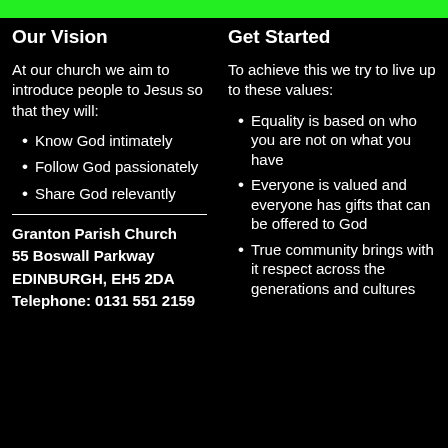Our Vision
At our church we aim to introduce people to Jesus so that they will:
Know God intimately
Follow God passionately
Share God relevantly
Granton Parish Church
55 Boswall Parkway
EDINBURGH, EH5 2DA
Telephone: 0131 551 2159
Get Started
To achieve this we try to live up to these values:
Equality is based on who you are not on what you have
Everyone is valued and everyone has gifts that can be offered to God
True community brings with it respect across the generations and cultures